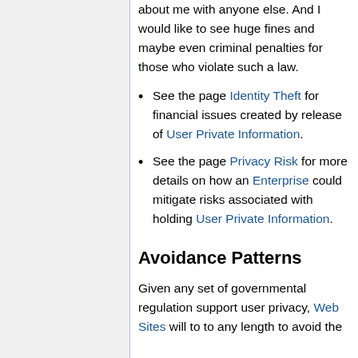about me with anyone else. And I would like to see huge fines and maybe even criminal penalties for those who violate such a law.
See the page Identity Theft for financial issues created by release of User Private Information.
See the page Privacy Risk for more details on how an Enterprise could mitigate risks associated with holding User Private Information.
Avoidance Patterns
Given any set of governmental regulation support user privacy, Web Sites will to to any length to avoid the